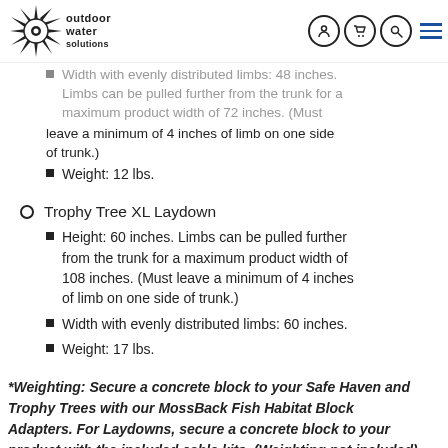Outdoor Water Solutions (logo + nav icons)
Width with evenly distributed limbs: 48 inches. Limbs can be pulled further from the trunk for a maximum product width of 72 inches. (Must leave a minimum of 4 inches of limb on one side of trunk.)
Weight: 12 lbs.
Trophy Tree XL Laydown
Height: 60 inches. Limbs can be pulled further from the trunk for a maximum product width of 108 inches. (Must leave a minimum of 4 inches of limb on one side of trunk.)
Width with evenly distributed limbs: 60 inches.
Weight: 17 lbs.
*Weighting: Secure a concrete block to your Safe Haven and Trophy Trees with our MossBack Fish Habitat Block Adapters. For Laydowns, secure a concrete block to your product with the included cable kits. (Weighting not included)